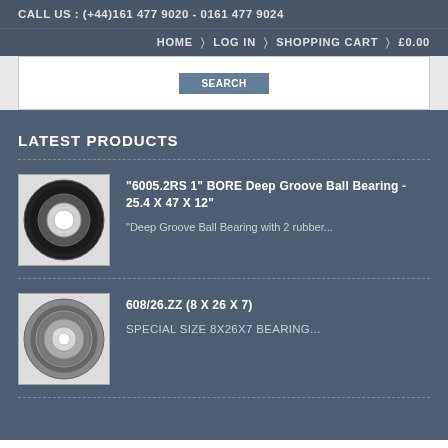CALL US : (+44)161 477 9020 - 0161 477 9024
HOME > LOG IN > SHOPPING CART > £0.00
LATEST PRODUCTS
"6005.2RS 1" BORE Deep Groove Ball Bearing - 25.4 X 47 X 12" — "Deep Groove Ball Bearing with 2 rubber...
608/26.ZZ (8 X 26 X 7) — SPECIAL SIZE 8X26X7 BEARING...